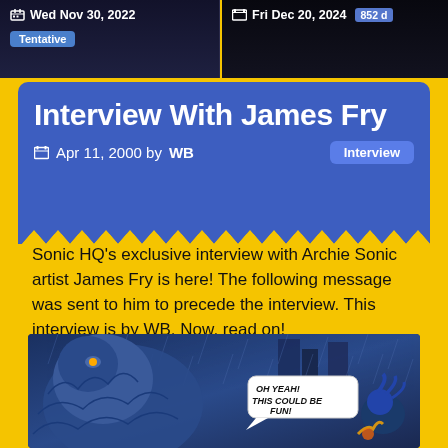Wed Nov 30, 2022 | Tentative
Fri Dec 20, 2024 | 852 d
Interview With James Fry
Apr 11, 2000 by WB
Interview
Sonic HQ's exclusive interview with Archie Sonic artist James Fry is here! The following message was sent to him to precede the interview. This interview is by WB. Now, read on!
[Figure (illustration): Comic panel from Archie Sonic the Hedgehog comic featuring a large monster/creature in a rainy city scene with Sonic and a speech bubble reading 'OH YEAH! THIS COULD BE FUN!']